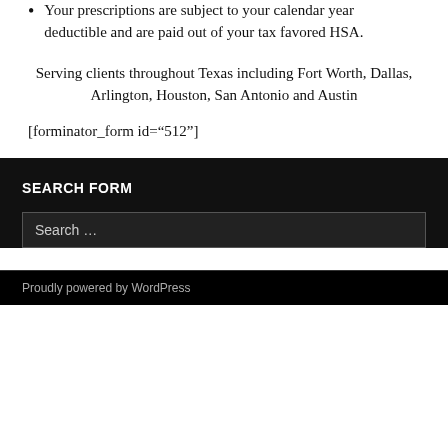Your prescriptions are subject to your calendar year deductible and are paid out of your tax favored HSA.
Serving clients throughout Texas including Fort Worth, Dallas, Arlington, Houston, San Antonio and Austin
[forminator_form id="512"]
SEARCH FORM
Search …
Proudly powered by WordPress